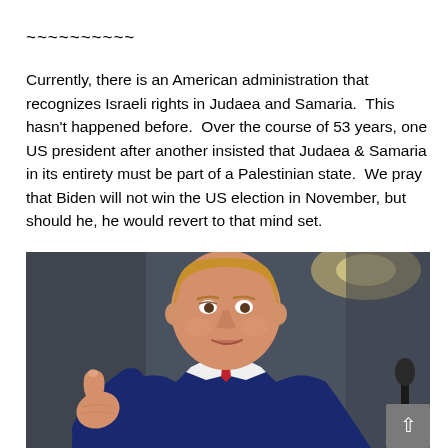~~~~~~~~~~
Currently, there is an American administration that recognizes Israeli rights in Judaea and Samaria.  This hasn't happened before.  Over the course of 53 years, one US president after another insisted that Judaea & Samaria in its entirety must be part of a Palestinian state.  We pray that Biden will not win the US election in November, but should he, he would revert to that mind set.
[Figure (photo): A man in a suit giving a thumbs up gesture, smiling, with a blurred indoor background and a light source visible in the upper right.]